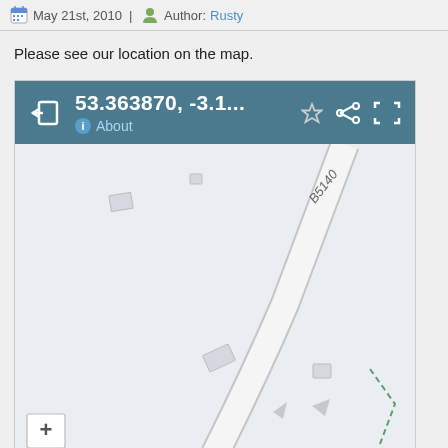May 21st, 2010 | Author: Rusty
Please see our location on the map.
[Figure (map): Google Maps embed showing coordinates 53.363870, -3.1... with a map view of Montgomery Hill / B5140 road. Includes map toolbar with coordinates, About link, star, share, and expand icons. Map shows road labeled 'Montgomery Hill' and 'B5140' on a light gray background. Zoom '+' button visible at bottom left.]